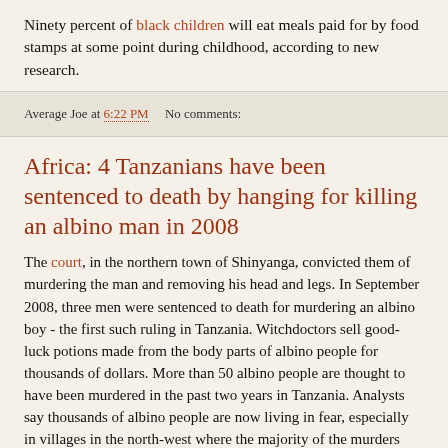Ninety percent of black children will eat meals paid for by food stamps at some point during childhood, according to new research.
Average Joe at 6:22 PM    No comments:
Africa: 4 Tanzanians have been sentenced to death by hanging for killing an albino man in 2008
The court, in the northern town of Shinyanga, convicted them of murdering the man and removing his head and legs. In September 2008, three men were sentenced to death for murdering an albino boy - the first such ruling in Tanzania. Witchdoctors sell good-luck potions made from the body parts of albino people for thousands of dollars. More than 50 albino people are thought to have been murdered in the past two years in Tanzania. Analysts say thousands of albino people are now living in fear, especially in villages in the north-west where the majority of the murders have occurred. The